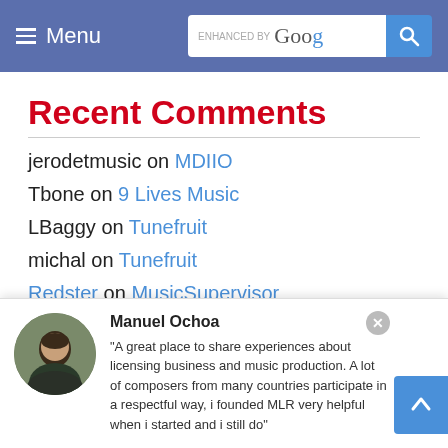Menu | ENHANCED BY Google [search]
Recent Comments
jerodetmusic on MDIIO
Tbone on 9 Lives Music
LBaggy on Tunefruit
michal on Tunefruit
Redster on MusicSupervisor
Manuel Ochoa
"A great place to share experiences about licensing business and music production. A lot of composers from many countries participate in a respectful way, i founded MLR very helpful when i started and i still do"